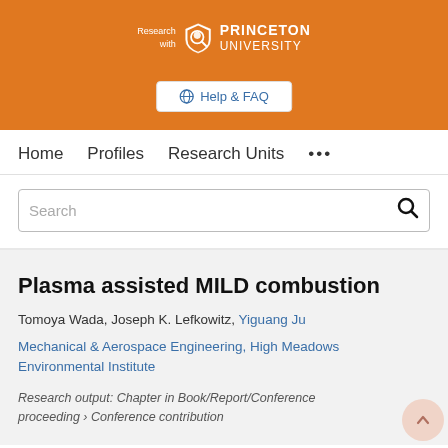[Figure (logo): Research with Princeton University logo on orange background with Help & FAQ button]
Home   Profiles   Research Units   ...
Search
Plasma assisted MILD combustion
Tomoya Wada, Joseph K. Lefkowitz, Yiguang Ju
Mechanical & Aerospace Engineering, High Meadows Environmental Institute
Research output: Chapter in Book/Report/Conference proceeding › Conference contribution